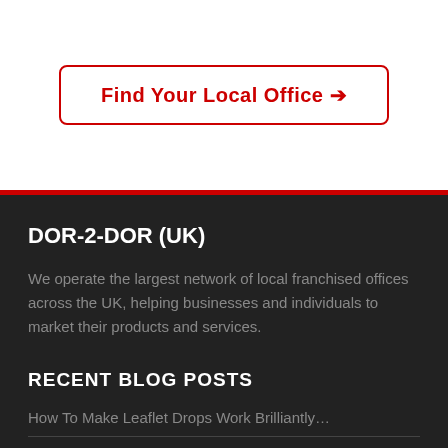Find Your Local Office →
DOR-2-DOR (UK)
We operate the largest network of local franchised offices across the UK, helping businesses and individuals to market their products and services.
RECENT BLOG POSTS
How To Make Leaflet Drops Work Brilliantly…
Does a Soft Recession Work?